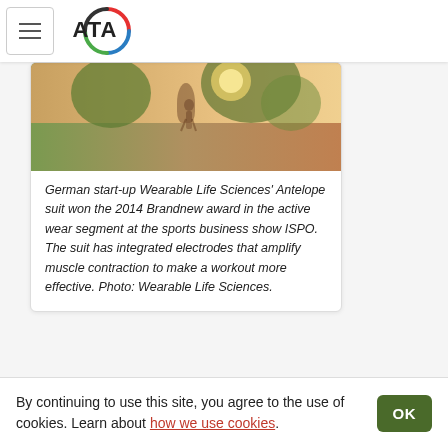ATA logo and navigation menu
[Figure (photo): Outdoor photo showing a runner in a park with sunlight filtering through trees, warm tones of orange and green]
German start-up Wearable Life Sciences' Antelope suit won the 2014 Brandnew award in the active wear segment at the sports business show ISPO. The suit has integrated electrodes that amplify muscle contraction to make a workout more effective. Photo: Wearable Life Sciences.
By continuing to use this site, you agree to the use of cookies. Learn about how we use cookies.